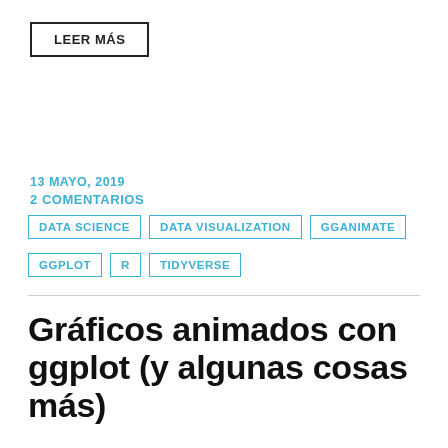LEER MÁS
13 MAYO, 2019
2 COMENTARIOS
DATA SCIENCE | DATA VISUALIZATION | GGANIMATE | GGPLOT | R | TIDYVERSE
Gráficos animados con ggplot (y algunas cosas más)